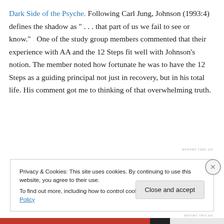Dark Side of the Psyche. Following Carl Jung, Johnson (1993:4) defines the shadow as " . . . that part of us we fail to see or know." One of the study group members commented that their experience with AA and the 12 Steps fit well with Johnson's notion. The member noted how fortunate he was to have the 12 Steps as a guiding principal not just in recovery, but in his total life. His comment got me to thinking of that overwhelming truth.
REPORT THIS AD
Privacy & Cookies: This site uses cookies. By continuing to use this website, you agree to their use. To find out more, including how to control cookies, see here: Cookie Policy
Close and accept